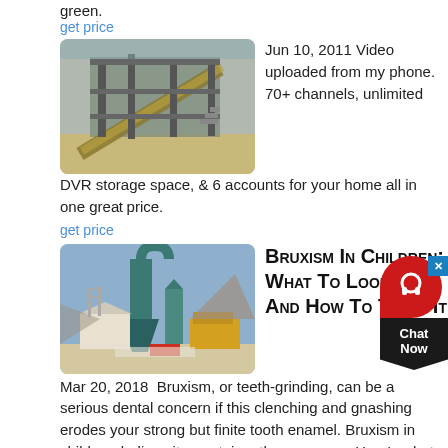green.
get price
[Figure (photo): Industrial crushing/mining plant machinery with conveyor belts and metal structures outdoors]
Jun 10, 2011 Video uploaded from my phone. 70+ channels, unlimited DVR storage space, & 6 accounts for your home all in one great price.
get price
[Figure (photo): Industrial grinding mill with large cyclone dust collector, metal silos and construction in background at mining site]
Bruxism In Children: What To Look For And How To Treat It
Mar 20, 2018 Bruxism, or teeth-grinding, can be a serious dental concern if this clenching and gnashing erodes your strong but finite tooth enamel. Bruxism in children, believe it or not, is rather common. Here's what you